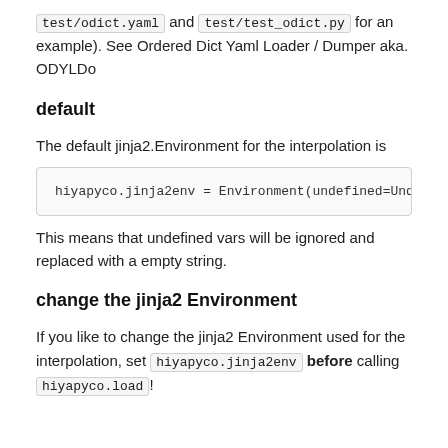test/odict.yaml and test/test_odict.py for an example). See Ordered Dict Yaml Loader / Dumper aka. ODYLDo
default
The default jinja2.Environment for the interpolation is
hiyapyco.jinja2env = Environment(undefined=Undefin
This means that undefined vars will be ignored and replaced with a empty string.
change the jinja2 Environment
If you like to change the jinja2 Environment used for the interpolation, set hiyapyco.jinja2env before calling hiyapyco.load!